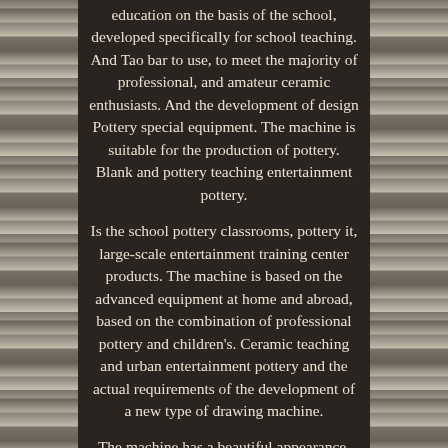education on the basis of the school, developed specifically for school teaching. And Tao bar to use, to meet the majority of professional, and amateur ceramic enthusiasts. And the development of design Pottery special equipment. The machine is suitable for the production of pottery. Blank and pottery teaching entertainment pottery.
Is the school pottery classrooms, pottery it, large-scale entertainment training center products. The machine is based on the advanced equipment at home and abroad, based on the combination of professional pottery and children's. Ceramic teaching and urban entertainment pottery and the actual requirements of the development of a new type of drawing machine.
The machine has a beautiful appearance, So that the structure is compact: small footprint: good mud blocking (to prevent mixing chaos rejection). Flexible operation; smooth speed; low noise; and forward and reverse switching, etc.